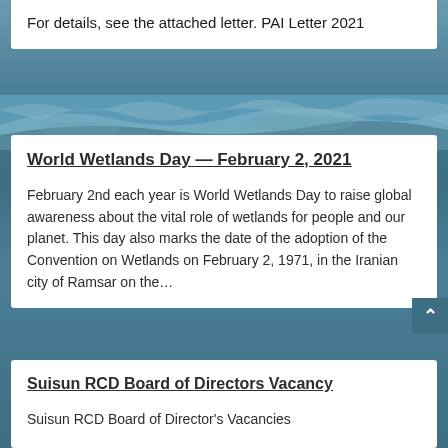For details, see the attached letter. PAI Letter 2021
World Wetlands Day — February 2, 2021
February 2nd each year is World Wetlands Day to raise global awareness about the vital role of wetlands for people and our planet. This day also marks the date of the adoption of the Convention on Wetlands on February 2, 1971, in the Iranian city of Ramsar on the...
Suisun RCD Board of Directors Vacancy
Suisun RCD Board of Director's Vacancies